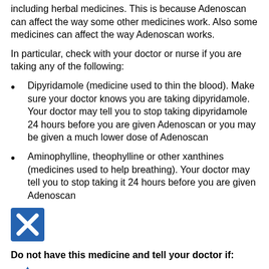including herbal medicines. This is because Adenoscan can affect the way some other medicines work. Also some medicines can affect the way Adenoscan works.
In particular, check with your doctor or nurse if you are taking any of the following:
Dipyridamole (medicine used to thin the blood). Make sure your doctor knows you are taking dipyridamole. Your doctor may tell you to stop taking dipyridamole 24 hours before you are given Adenoscan or you may be given a much lower dose of Adenoscan
Aminophylline, theophylline or other xanthines (medicines used to help breathing). Your doctor may tell you to stop taking it 24 hours before you are given Adenoscan
[Figure (illustration): Blue square icon with white X mark]
Do not have this medicine and tell your doctor if:
[Figure (illustration): Blue triangle warning icon with white exclamation mark]